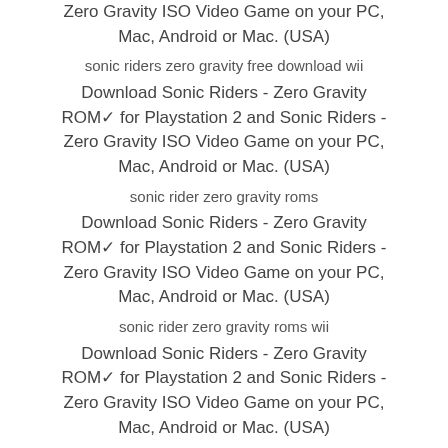Zero Gravity ISO Video Game on your PC, Mac, Android or Mac. (USA)
sonic riders zero gravity free download wii
Download Sonic Riders - Zero Gravity ROM✓ for Playstation 2 and Sonic Riders - Zero Gravity ISO Video Game on your PC, Mac, Android or Mac. (USA)
sonic rider zero gravity roms
Download Sonic Riders - Zero Gravity ROM✓ for Playstation 2 and Sonic Riders - Zero Gravity ISO Video Game on your PC, Mac, Android or Mac. (USA)
sonic rider zero gravity roms wii
Download Sonic Riders - Zero Gravity ROM✓ for Playstation 2 and Sonic Riders - Zero Gravity ISO Video Game on your PC, Mac, Android or Mac. (USA)
sonic rider zero gravity free
Download Sonic Riders - Zero Gravity ROM✓ for Playstation 2 and Sonic Riders - Zero Gravity ISO Video Game on your PC, Mac, Android or Mac. (USA)